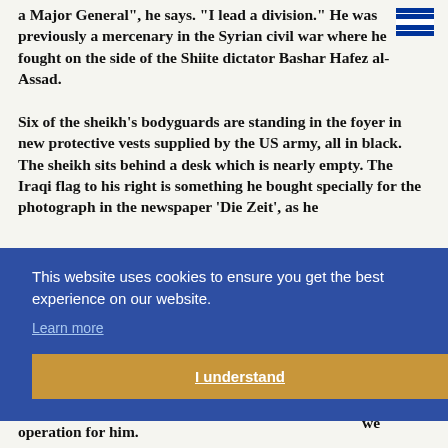a Major General", he says. "I lead a division." He was previously a mercenary in the Syrian civil war where he fought on the side of the Shiite dictator Bashar Hafez al-Assad.
Six of the sheikh's bodyguards are standing in the foyer in new protective vests supplied by the US army, all in black. The sheikh sits behind a desk which is nearly empty. The Iraqi flag to his right is something he bought specially for the photograph in the newspaper 'Die Zeit', as he
...r ...been ...battles ...uses ...ine ...we
This website uses cookies to ensure you get the best experience on our website. Learn more I understand
operation for him.